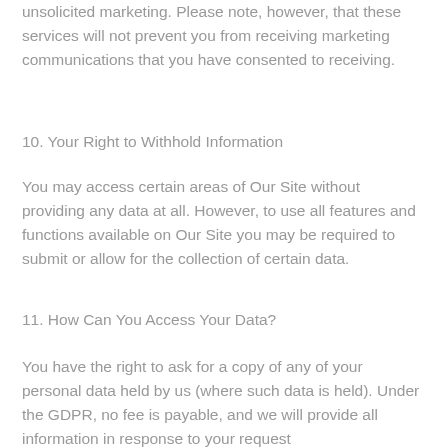unsolicited marketing. Please note, however, that these services will not prevent you from receiving marketing communications that you have consented to receiving.
10. Your Right to Withhold Information
You may access certain areas of Our Site without providing any data at all. However, to use all features and functions available on Our Site you may be required to submit or allow for the collection of certain data.
11. How Can You Access Your Data?
You have the right to ask for a copy of any of your personal data held by us (where such data is held). Under the GDPR, no fee is payable, and we will provide all information in response to your request